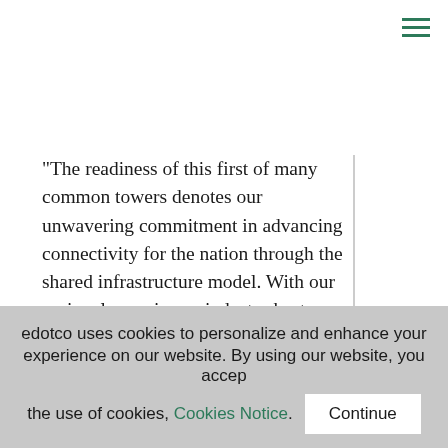“The readiness of this first of many common towers denotes our unwavering commitment in advancing connectivity for the nation through the shared infrastructure model. With our regional experience, industry best practices and capabilities in deploying built-to-suit and next-generation connectivity solutions, we are thrilled to officially mark a new era of reliable and affordable connectivity in the Philippines,” said William Walters, Country Managing Director of IETI.
edotco uses cookies to personalize and enhance your experience on our website. By using our website, you accept the use of cookies, Cookies Notice. Continue